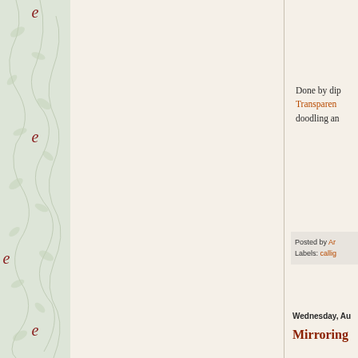[Figure (illustration): Decorative sidebar with floral/botanical pattern in muted green tones, with italic red letter 'e' repeated at intervals]
Done by dip Transparent doodling an
Posted by An Labels: callig
Wednesday, Au
Mirroring